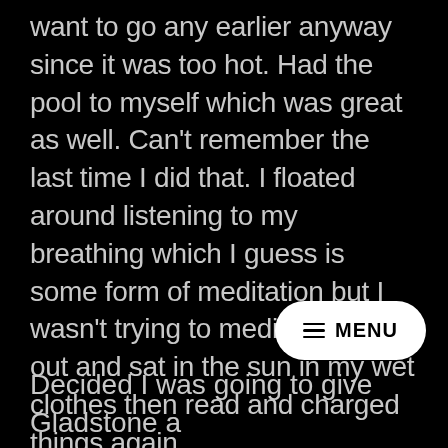want to go any earlier anyway since it was too hot. Had the pool to myself which was great as well. Can't remember the last time I did that. I floated around listening to my breathing which I guess is some form of meditation but I wasn't trying to meditate! Got out and sat in the sun in my wet clothes then read and charged things again.
Decided I was going to give Gladstone a